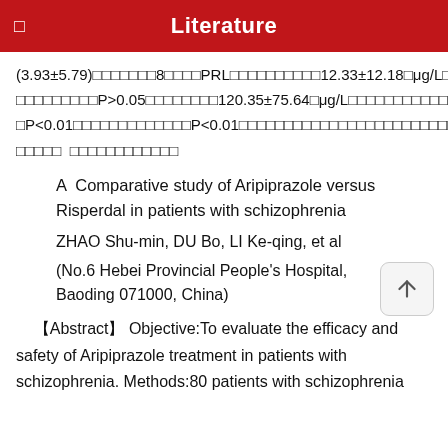Literature
(3.93±5.79)□□□□□□□8□□□□PRL□□□□□□□□□□12.33±12.18□μg/L□□□□□□□□□□□□□P>0.05□□□□□□□□120.35±75.64□μg/L□□□□□□□□□□□□□□P<0.01□□□□□□□□□□□□□P<0.01□□□□□□□□□□□□□□□□□□□□□□□□□□□□□□□□□□□ □□□□□□□□□□□□
A Comparative study of Aripiprazole versus Risperdal in patients with schizophrenia
ZHAO Shu-min, DU Bo, LI Ke-qing, et al
(No.6 Hebei Provincial People's Hospital, Baoding 071000, China)
【Abstract】 Objective:To evaluate the efficacy and safety of Aripiprazole treatment in patients with schizophrenia. Methods:80 patients with schizophrenia